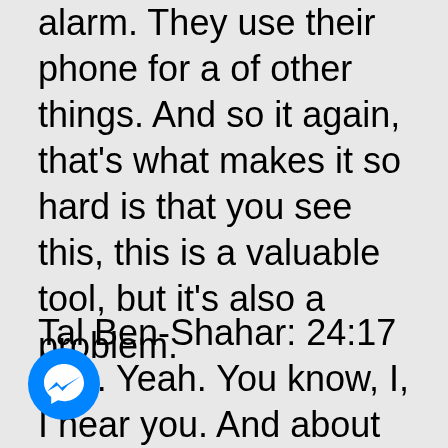alarm. They use their phone for a of other things. And so it again, that's what makes it so hard is that you see this, this is a valuable tool, but it's also a problem.
Tal Ben-Shahar: 24:17 Yes. Yeah. You know, I, I hear you. And about a year ago I actually bought myself an old fashioned watch with an
[Figure (logo): Facebook Messenger icon — blue circle with white lightning bolt chat bubble]